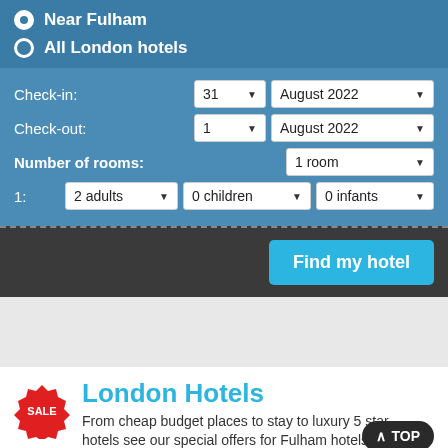Near Fulham (selected radio)
All London hotels (unselected radio)
Check-in: 31 August 2022
Check-out: 1 August 2022
Number of rooms: 1 room
1: 2 adults 0 children 0 infants
Find my hotel
London Hotels
From cheap budget places to stay to luxury 5 star hotels see our special offers for Fulham hotels.